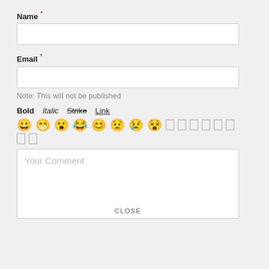Name *
[Figure (other): Empty text input field for Name]
Email *
[Figure (other): Empty text input field for Email]
Note: This will not be published
Bold  Italic  Strike  Link
[Figure (other): Emoji and formatting icon toolbar row 1: smiley faces and placeholder icons]
[Figure (other): Emoji toolbar row 2: two placeholder icons]
[Figure (other): Comment text area with placeholder 'Your Comment' and CLOSE button]